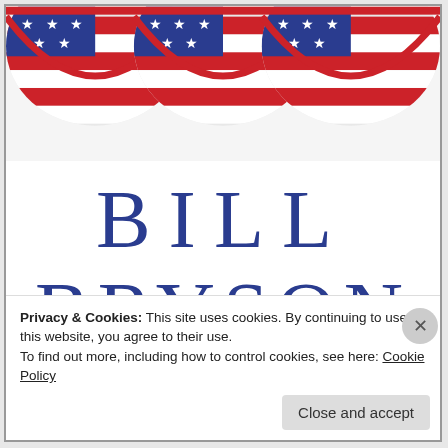[Figure (illustration): Red, white and blue patriotic bunting/swag decorations across the top of the page]
BILL BRYSON
Privacy & Cookies: This site uses cookies. By continuing to use this website, you agree to their use.
To find out more, including how to control cookies, see here: Cookie Policy